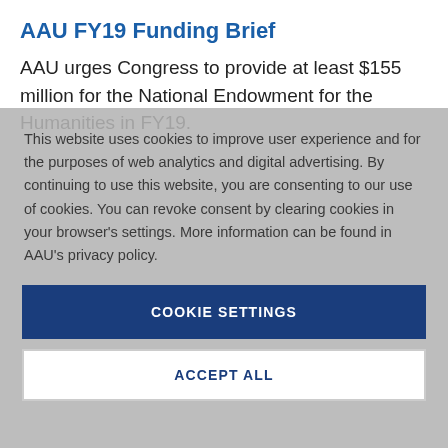AAU FY19 Funding Brief
AAU urges Congress to provide at least $155 million for the National Endowment for the Humanities in FY19.
This website uses cookies to improve user experience and for the purposes of web analytics and digital advertising. By continuing to use this website, you are consenting to our use of cookies. You can revoke consent by clearing cookies in your browser's settings. More information can be found in AAU's privacy policy.
COOKIE SETTINGS
ACCEPT ALL